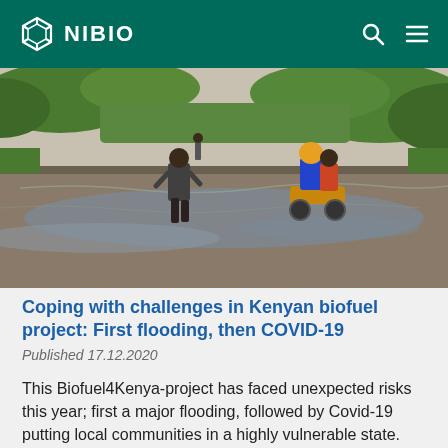NIBIO
[Figure (photo): People wading through floodwater on a road in Kenya. One person walks through knee-deep brown water, while another rides a motorcycle through the flood. Lush green vegetation is visible on the sides.]
Coping with challenges in Kenyan biofuel project: First flooding, then COVID-19
Published 17.12.2020
This Biofuel4Kenya-project has faced unexpected risks this year; first a major flooding, followed by Covid-19 putting local communities in a highly vulnerable state.